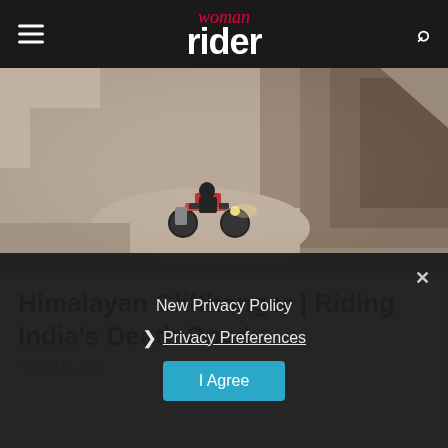woman rider
[Figure (photo): Motorcycle rider on a narrow rocky mountain road with steep cliff face in background, Himalayan landscape]
Himalayan Cliffhanger | Riding India’s Death Road
August 8, 2022
New Privacy Policy
Privacy Preferences
I Agree